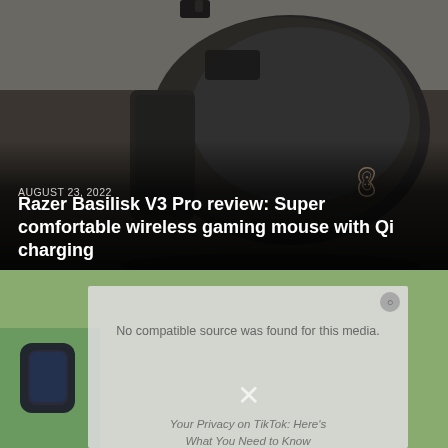[Figure (photo): Close-up photo of a Razer Basilisk V3 Pro gaming mouse in matte black with rose gold Razer snake logo, placed on a grey surface. Image has a dark gradient overlay at the bottom with overlaid text showing the article date and title.]
AUGUST 23, 2022
Razer Basilisk V3 Pro review: Super comfortable wireless gaming mouse with Qi charging
[Figure (screenshot): Bottom section with green background showing a video player overlay with error message 'No compatible source was found for this media.' and a privacy notice overlay reading 'Your Privacy on TikTok: Here's What You Need to Know' with a close X button.]